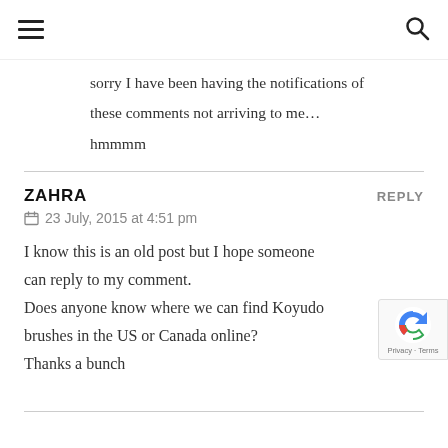☰  🔍
sorry I have been having the notifications of these comments not arriving to me… hmmmm
ZAHRA   REPLY
23 July, 2015 at 4:51 pm

I know this is an old post but I hope someone can reply to my comment.
Does anyone know where we can find Koyudo brushes in the US or Canada online?
Thanks a bunch